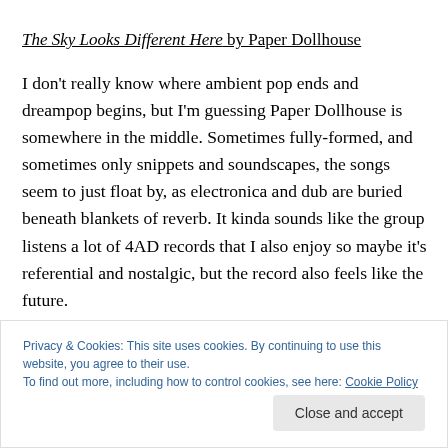The Sky Looks Different Here by Paper Dollhouse
I don't really know where ambient pop ends and dreampop begins, but I'm guessing Paper Dollhouse is somewhere in the middle. Sometimes fully-formed, and sometimes only snippets and soundscapes, the songs seem to just float by, as electronica and dub are buried beneath blankets of reverb. It kinda sounds like the group listens a lot of 4AD records that I also enjoy so maybe it's referential and nostalgic, but the record also feels like the future.
Privacy & Cookies: This site uses cookies. By continuing to use this website, you agree to their use.
To find out more, including how to control cookies, see here: Cookie Policy
Close and accept